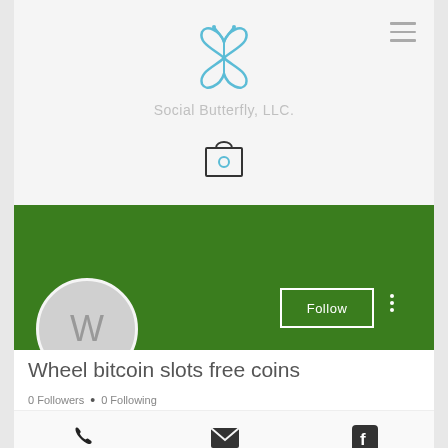[Figure (logo): Social Butterfly LLC butterfly logo in blue outline style]
Social Butterfly, LLC.
[Figure (illustration): Shopping bag / cart icon outline]
[Figure (illustration): Green profile banner with Follow button and three-dot menu]
[Figure (illustration): Avatar circle with letter W]
Wheel bitcoin slots free coins
0 Followers • 0 Following
[Figure (illustration): Contact icons: phone, email, Facebook]